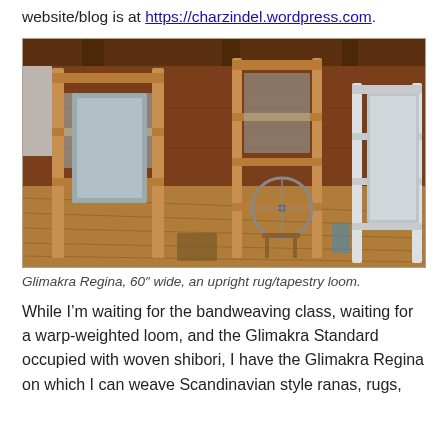website/blog is at https://charzindel.wordpress.com.
[Figure (photo): Interior of a weaving studio with wooden looms, including a large upright loom on the left and a tall loom in the center background, plus a white loom on the right. The room has wood plank floors and cedar walls.]
Glimakra Regina, 60" wide, an upright rug/tapestry loom.
While I'm waiting for the bandweaving class, waiting for a warp-weighted loom, and the Glimakra Standard occupied with woven shibori, I have the Glimakra Regina on which I can weave Scandinavian style ranas, rugs,